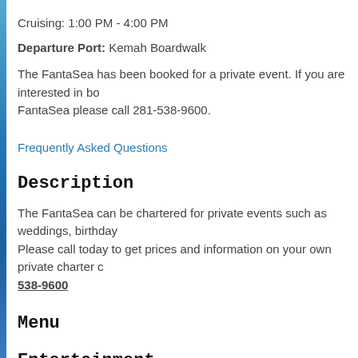Cruising: 1:00 PM - 4:00 PM
Departure Port: Kemah Boardwalk
The FantaSea has been booked for a private event. If you are interested in booking the FantaSea please call 281-538-9600.
Frequently Asked Questions
Description
The FantaSea can be chartered for private events such as weddings, birthdays, and more. Please call today to get prices and information on your own private charter cruise at 281-538-9600
Menu
Entertainment
Enjoy most kinds of entertainment aboard a FantaSea Private Cruise. Choose your entertainment and you can even add Casino Tables, Charicature Artists, Magicians, Cigar Rollers or even at sea level!